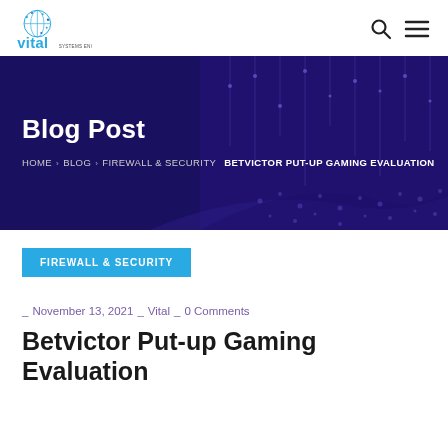Vital Systems Engineering — navigation header with logo, search and menu icons
[Figure (illustration): Dark purple/blue banner background with abstract digital network particle wave pattern]
Blog Post
HOME › BLOG › FIREWALL & SECURITY › BETVICTOR PUT-UP GAMING EVALUATION
FIREWALL & SECURITY
_ November 13, 2021 _ Vital _ 0 Comments
Betvictor Put-up Gaming Evaluation